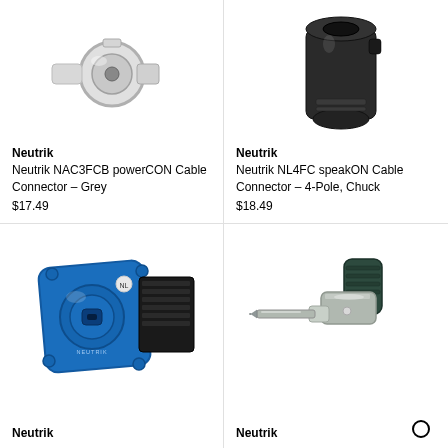[Figure (photo): Neutrik NAC3FCB powerCON cable connector in grey/white color, cylindrical shape]
Neutrik
Neutrik NAC3FCB powerCON Cable Connector – Grey
$17.49
[Figure (photo): Neutrik NL4FC speakON cable connector in black color, 4-Pole Chuck type]
Neutrik
Neutrik NL4FC speakON Cable Connector – 4-Pole, Chuck
$18.49
[Figure (photo): Neutrik blue powerCON panel mount connector with diamond-shaped blue plastic housing]
Neutrik
[Figure (photo): Neutrik 1/4 inch TS mono phone plug connector in silver/grey metal with dark green strain relief]
Neutrik